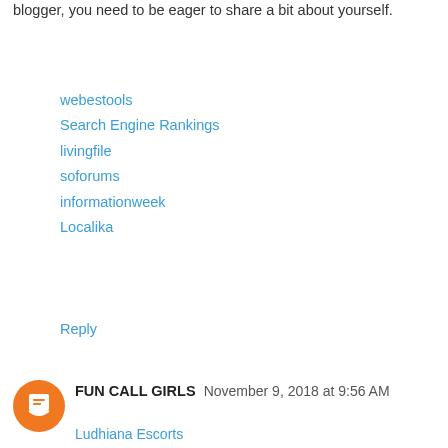blogger, you need to be eager to share a bit about yourself.
webestools
Search Engine Rankings
livingfile
soforums
informationweek
Localika
Reply
FUN CALL GIRLS  November 9, 2018 at 9:56 AM
Ludhiana Escorts
Escort Service Ludhiana
Call Girls in Ludhiana
Ludhiana Escort Service
Ludhiana Call Girls
Ludhiana Escorts
Escort Service Ludhiana
Call Girls in Ludhiana